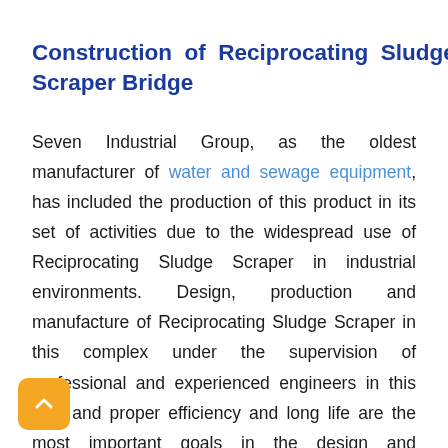Construction of Reciprocating Sludge Scraper Bridge
Seven Industrial Group, as the oldest manufacturer of water and sewage equipment, has included the production of this product in its set of activities due to the widespread use of Reciprocating Sludge Scraper in industrial environments. Design, production and manufacture of Reciprocating Sludge Scraper in this complex under the supervision of professional and experienced engineers in this field and proper efficiency and long life are the most important goals in the design and manufacture of this equipment. It uld also be noted that the bridges produced in Seven Industrial Group are designed and produced